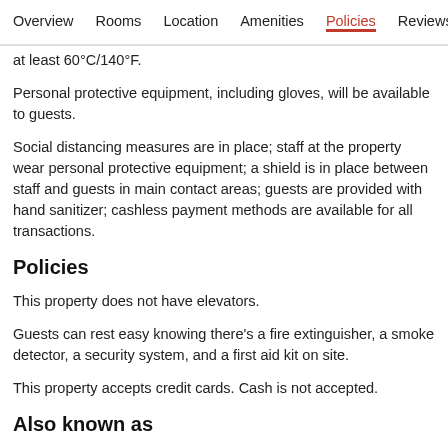Overview  Rooms  Location  Amenities  Policies  Reviews
at least 60°C/140°F.
Personal protective equipment, including gloves, will be available to guests.
Social distancing measures are in place; staff at the property wear personal protective equipment; a shield is in place between staff and guests in main contact areas; guests are provided with hand sanitizer; cashless payment methods are available for all transactions.
Policies
This property does not have elevators.
Guests can rest easy knowing there's a fire extinguisher, a smoke detector, a security system, and a first aid kit on site.
This property accepts credit cards. Cash is not accepted.
Also known as
Christiansminde